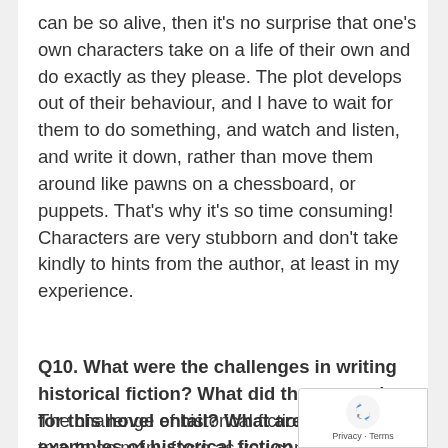can be so alive, then it's no surprise that one's own characters take on a life of their own and do exactly as they please. The plot develops out of their behaviour, and I have to wait for them to do something, and watch and listen, and write it down, rather than move them around like pawns on a chessboard, or puppets. That's why it's so time consuming! Characters are very stubborn and don't take kindly to hints from the author, at least in my experience.
Q10. What were the challenges in writing historical fiction? What did the research for this novel entail? What are the examples of historical fiction that appeal to you?
The challenge of historical fiction is to be true to as many facts as you can ferret out about
[Figure (logo): reCAPTCHA badge with recycling-style logo and Privacy · Terms text]